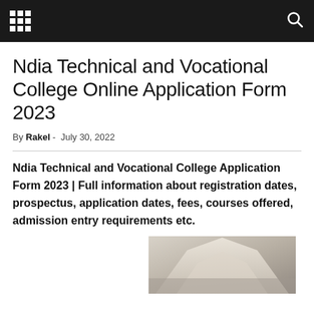[Navigation bar with grid menu icon and search icon]
Ndia Technical and Vocational College Online Application Form 2023
By Rakel - July 30, 2022
Ndia Technical and Vocational College Application Form 2023 | Full information about registration dates, prospectus, application dates, fees, courses offered, admission entry requirements etc.
[Figure (photo): Partial view of a building rooftop or architectural structure, visible in bottom-right corner of the page]